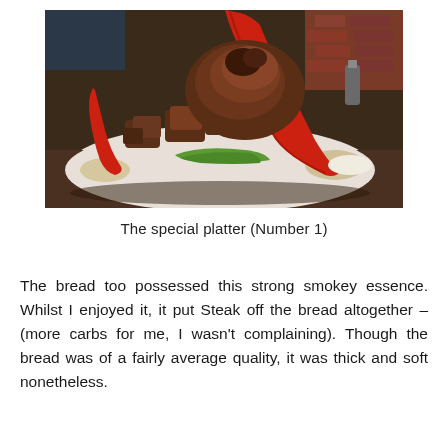[Figure (photo): A large plate piled high with grilled meat pieces and roasted red and green peppers, served on a white plate at a restaurant table with a brick wall in the background.]
The special platter (Number 1)
The bread too possessed this strong smokey essence. Whilst I enjoyed it, it put Steak off the bread altogether – (more carbs for me, I wasn't complaining). Though the bread was of a fairly average quality, it was thick and soft nonetheless.